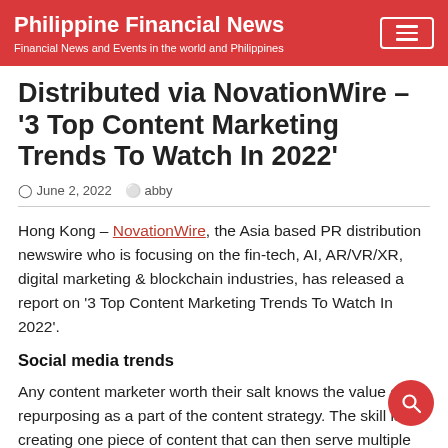Philippine Financial News
Financial News and Events in the world and Philippines
Distributed via NovationWire – '3 Top Content Marketing Trends To Watch In 2022'
June 2, 2022   abby
Hong Kong – NovationWire, the Asia based PR distribution newswire who is focusing on the fin-tech, AI, AR/VR/XR, digital marketing & blockchain industries, has released a report on '3 Top Content Marketing Trends To Watch In 2022'.
Social media trends
Any content marketer worth their salt knows the value of repurposing as a part of the content strategy. The skill is in creating one piece of content that can then serve multiple